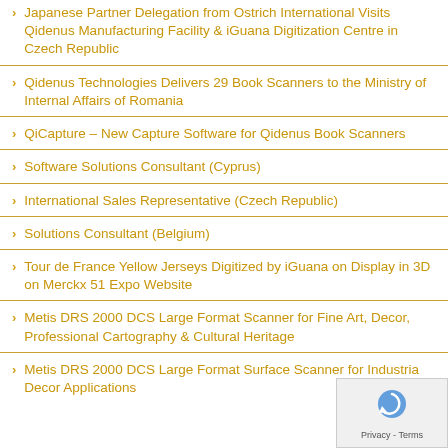Japanese Partner Delegation from Ostrich International Visits Qidenus Manufacturing Facility & iGuana Digitization Centre in Czech Republic
Qidenus Technologies Delivers 29 Book Scanners to the Ministry of Internal Affairs of Romania
QiCapture – New Capture Software for Qidenus Book Scanners
Software Solutions Consultant (Cyprus)
International Sales Representative (Czech Republic)
Solutions Consultant (Belgium)
Tour de France Yellow Jerseys Digitized by iGuana on Display in 3D on Merckx 51 Expo Website
Metis DRS 2000 DCS Large Format Scanner for Fine Art, Decor, Professional Cartography & Cultural Heritage
Metis DRS 2000 DCS Large Format Surface Scanner for Industrial Decor Applications